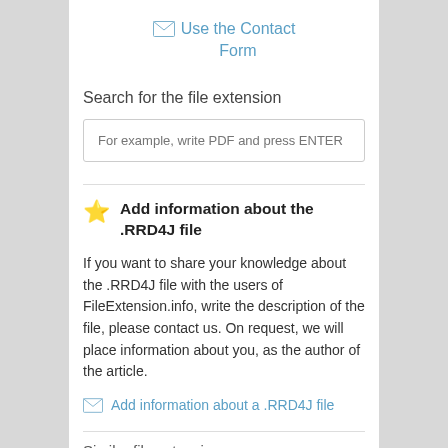Use the Contact Form
Search for the file extension
For example, write PDF and press ENTER
Add information about the .RRD4J file
If you want to share your knowledge about the .RRD4J file with the users of FileExtension.info, write the description of the file, please contact us. On request, we will place information about you, as the author of the article.
Add information about a .RRD4J file
Similar file extensions